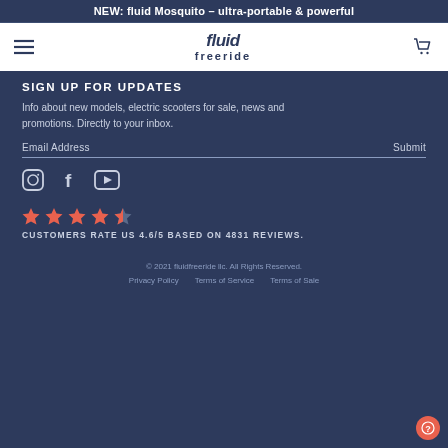NEW: fluid Mosquito – ultra-portable & powerful
[Figure (logo): Fluid Freeride logo with hamburger menu icon on left and shopping cart icon on right]
SIGN UP FOR UPDATES
Info about new models, electric scooters for sale, news and promotions. Directly to your inbox.
Email Address    Submit
[Figure (illustration): Social media icons: Instagram, Facebook, YouTube]
[Figure (illustration): 4.6 out of 5 stars rating displayed as star icons]
CUSTOMERS RATE US 4.6/5 BASED ON 4831 REVIEWS.
© 2021 fluidfreeride llc. All Rights Reserved.   Privacy Policy   Terms of Service   Terms of Sale